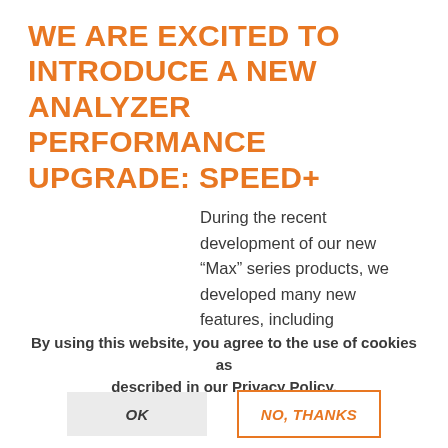WE ARE EXCITED TO INTRODUCE A NEW ANALYZER PERFORMANCE UPGRADE: SPEED+
During the recent development of our new “Max” series products, we developed many new features, including
By using this website, you agree to the use of cookies as described in our Privacy Policy.
OK
NO, THANKS